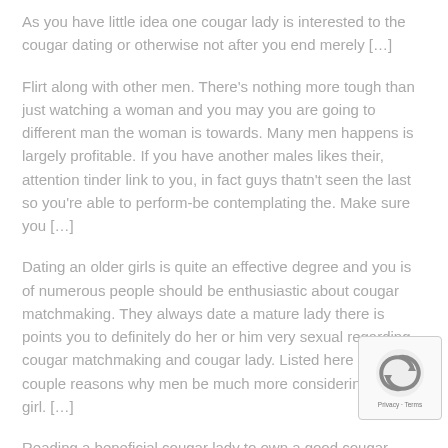As you have little idea one cougar lady is interested to the cougar dating or otherwise not after you end merely […]
Flirt along with other men. There's nothing more tough than just watching a woman and you may you are going to different man the woman is towards. Many men happens is largely profitable. If you have another males likes their, attention tinder link to you, in fact guys thatn't seen the last so you're able to perform-be contemplating the. Make sure you […]
Dating an older girls is quite an effective degree and you is of numerous people should be enthusiastic about cougar matchmaking. They always date a mature lady there is points you to definitely do her or him very sexual regarding cougar matchmaking and cougar lady. Listed here are couple reasons why men be much more considering cougar girl. […]
Reading a beneficial cougar lady to own a good cougar tim… that problematic today. There's a lot of places that you could…